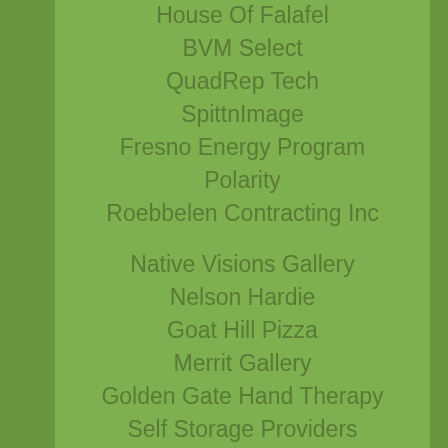House Of Falafel
BVM Select
QuadRep Tech
SpittnImage
Fresno Energy Program
Polarity
Roebbelen Contracting Inc
Native Visions Gallery
Nelson Hardie
Goat Hill Pizza
Merrit Gallery
Golden Gate Hand Therapy
Self Storage Providers